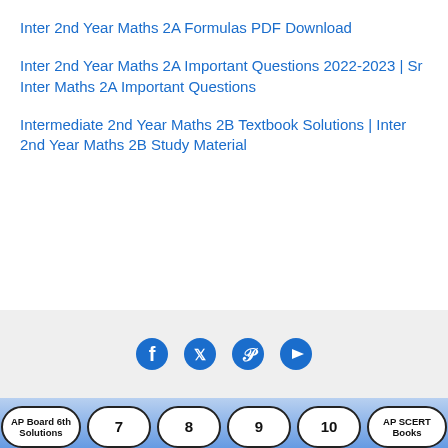Inter 2nd Year Maths 2A Formulas PDF Download
Inter 2nd Year Maths 2A Important Questions 2022-2023 | Sr Inter Maths 2A Important Questions
Intermediate 2nd Year Maths 2B Textbook Solutions | Inter 2nd Year Maths 2B Study Material
[Figure (infographic): Social media icons: Facebook, Twitter, Pinterest, YouTube in a light gray footer bar]
[Figure (infographic): Footer navigation pills: AP Board 6th Solutions, 7, 8, 9, 10, AP SCERT Books, AP Bit Bank, AP Board Notes on a blue gradient background]